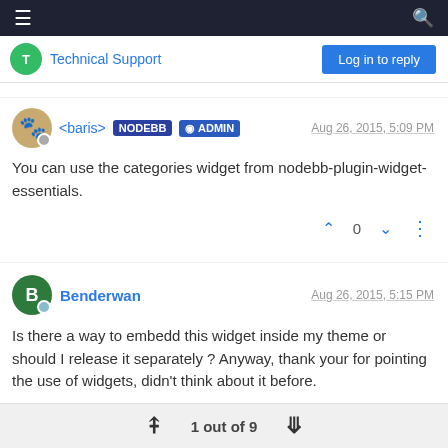≡  [hamburger menu]  [search icon]
Technical Support   Log in to reply
<baris> NODEBB ADMIN  Aug 26, 2015, 5:09 PM
You can use the categories widget from nodebb-plugin-widget-essentials.
Benderwan  Aug 26, 2015, 5:15 PM
Is there a way to embedd this widget inside my theme or should I release it separately ? Anyway, thank your for pointing the use of widgets, didn't think about it before.
1 out of 9